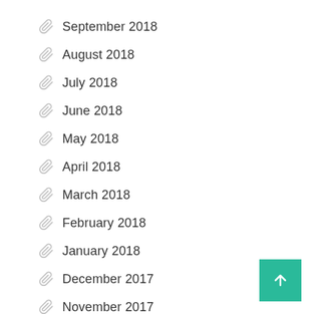September 2018
August 2018
July 2018
June 2018
May 2018
April 2018
March 2018
February 2018
January 2018
December 2017
November 2017